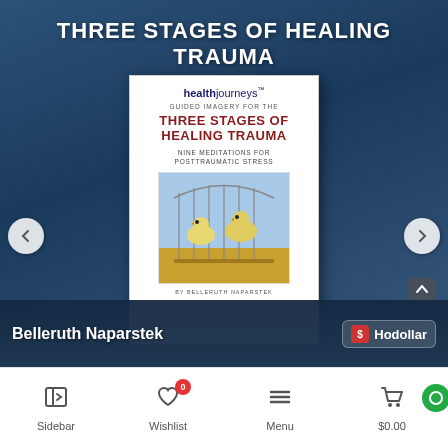THREE STAGES OF HEALING TRAUMA
[Figure (illustration): Book cover for 'Three Stages of Healing Trauma' by Belleruth Naparstek. Health Journeys brand. Features two white/yellow doves near a bird cage on a blue background. Subtitle: Guided Imagery for the Three Stages of Healing Trauma – Nine Meditations for Posttraumatic Stress.]
Belleruth Naparstek
[Figure (logo): Hodollar app logo — red/orange icon with dollar sign and 'Hodollar' text in white]
Sidebar | Wishlist 0 | Menu | $0.00